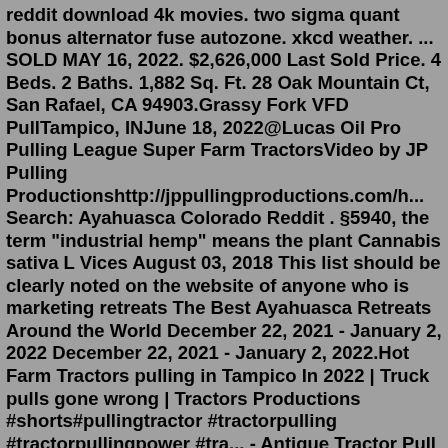reddit download 4k movies. two sigma quant bonus alternator fuse autozone. xkcd weather. ... SOLD MAY 16, 2022. $2,626,000 Last Sold Price. 4 Beds. 2 Baths. 1,882 Sq. Ft. 28 Oak Mountain Ct, San Rafael, CA 94903.Grassy Fork VFD PullTampico, INJune 18, 2022@Lucas Oil Pro Pulling League Super Farm TractorsVideo by JP Pulling Productionshttp://jppullingproductions.com/h... Search: Ayahuasca Colorado Reddit . §5940, the term "industrial hemp" means the plant Cannabis sativa L Vices August 03, 2018 This list should be clearly noted on the website of anyone who is marketing retreats The Best Ayahuasca Retreats Around the World December 22, 2021 - January 2, 2022 December 22, 2021 - January 2, 2022.Hot Farm Tractors pulling in Tampico In 2022 | Truck pulls gone wrong | Tractors Productions #shorts#pullingtractor #tractorpulling #tractorpullingpower #tra... - Antique Tractor Pull - Lawn & Garden Tractor Pull - School Bus Demo Derby . West Alexander Fair - West Alexander, PA September 5 - 10, 2022. West Virginia State Fair -